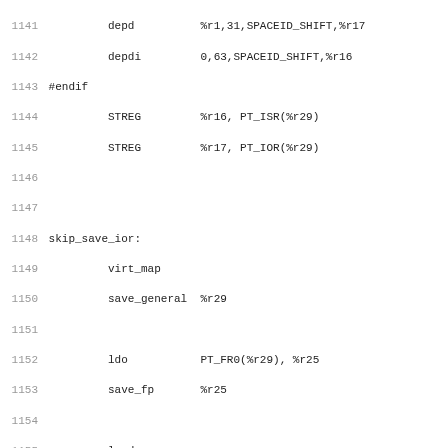Assembly source code listing lines 1141-1172, showing HPPA assembly instructions including depd, depdi, STREG, virt_map, save_general, ldo, save_fp, loadgp, copy, ldil, b, ENDPROC and comment block.